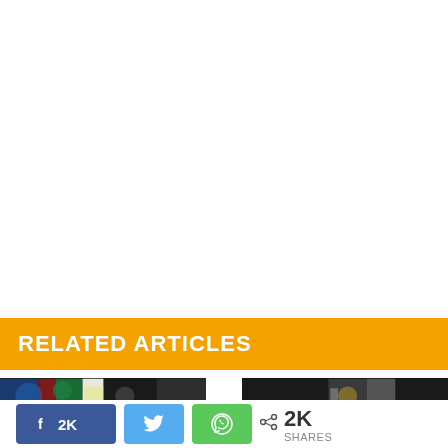RELATED ARTICLES
[Figure (photo): Thumbnail strip left: colorful image thumbnails in dark background]
[Figure (photo): Thumbnail strip right: dark background with partial image]
2K SHARES (share buttons: Facebook 2K, Twitter, WhatsApp)